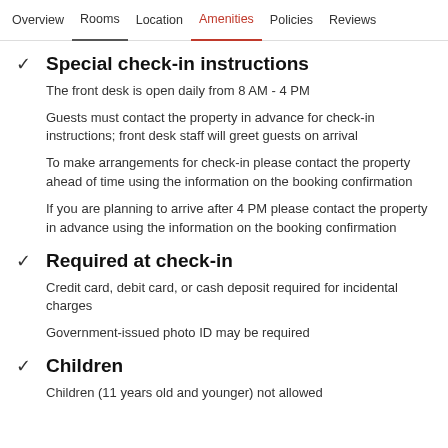Overview  Rooms  Location  Amenities  Policies  Reviews
Special check-in instructions
The front desk is open daily from 8 AM - 4 PM
Guests must contact the property in advance for check-in instructions; front desk staff will greet guests on arrival
To make arrangements for check-in please contact the property ahead of time using the information on the booking confirmation
If you are planning to arrive after 4 PM please contact the property in advance using the information on the booking confirmation
Required at check-in
Credit card, debit card, or cash deposit required for incidental charges
Government-issued photo ID may be required
Children
Children (11 years old and younger) not allowed